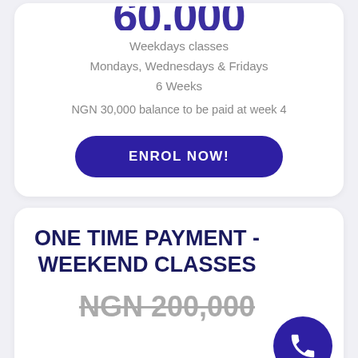Weekdays classes
Mondays, Wednesdays & Fridays
6 Weeks
NGN 30,000 balance to be paid at week 4
ENROL NOW!
ONE TIME PAYMENT - WEEKEND CLASSES
NGN 200,000